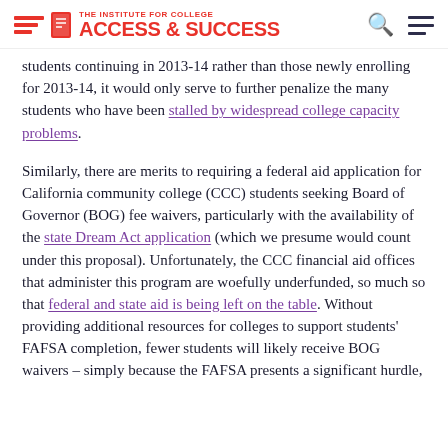THE INSTITUTE FOR COLLEGE ACCESS & SUCCESS
students continuing in 2013-14 rather than those newly enrolling for 2013-14, it would only serve to further penalize the many students who have been stalled by widespread college capacity problems.
Similarly, there are merits to requiring a federal aid application for California community college (CCC) students seeking Board of Governor (BOG) fee waivers, particularly with the availability of the state Dream Act application (which we presume would count under this proposal). Unfortunately, the CCC financial aid offices that administer this program are woefully underfunded, so much so that federal and state aid is being left on the table. Without providing additional resources for colleges to support students' FAFSA completion, fewer students will likely receive BOG waivers – simply because the FAFSA presents a significant hurdle,